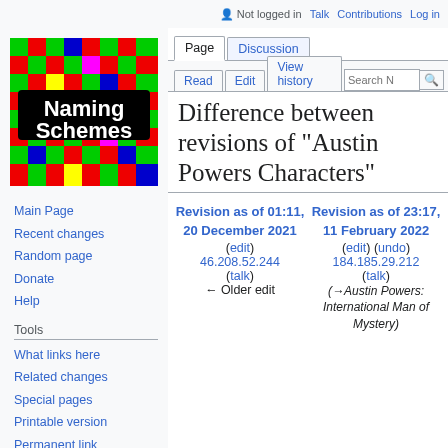Not logged in  Talk  Contributions  Log in
[Figure (illustration): Naming Schemes pixelated logo with colorful pixel art background]
Main Page
Recent changes
Random page
Donate
Help
Tools
What links here
Related changes
Special pages
Printable version
Permanent link
Page information
Difference between revisions of "Austin Powers Characters"
Revision as of 01:11, 20 December 2021 (edit) 46.208.52.244 (talk) ← Older edit
Revision as of 23:17, 11 February 2022 (edit) (undo) 184.185.29.212 (talk) (→Austin Powers: International Man of Mystery)